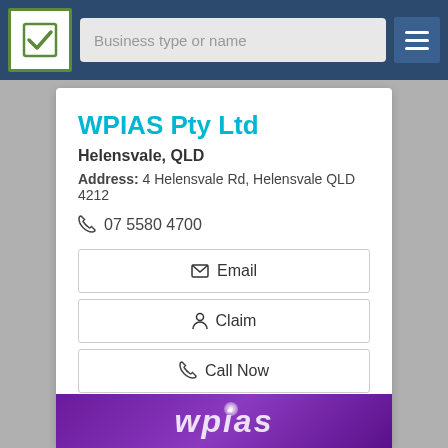[Figure (screenshot): Business directory website screenshot with nav bar showing logo, search field 'Business type or name', and hamburger menu]
WPIAS Pty Ltd
Helensvale, QLD
Address: 4 Helensvale Rd, Helensvale QLD 4212
07 5580 4700
Email
Claim
Call Now
View Details
[Figure (photo): Purple banner at bottom showing partial logo text 'wpias' in white italic letters with glow effect]